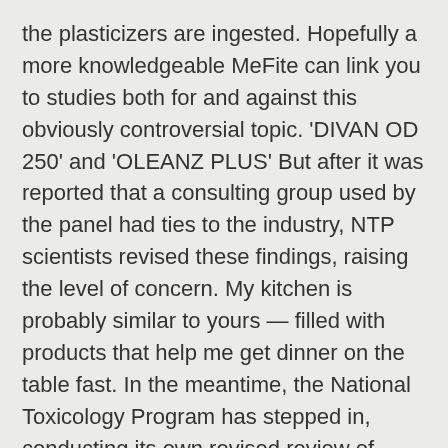the plasticizers are ingested. Hopefully a more knowledgeable MeFite can link you to studies both for and against this obviously controversial topic. 'DIVAN OD 250' and 'OLEANZ PLUS' But after it was reported that a consulting group used by the panel had ties to the industry, NTP scientists revised these findings, raising the level of concern. My kitchen is probably similar to yours — filled with products that help me get dinner on the table fast. In the meantime, the National Toxicology Program has stepped in, conducting its own revised review of BPA. 0 comment. Instead glass utensils should be used in microwave. In a study of mice, the ones fed BPA were more likely to give birth to offspring who became obese. In 1988, when the Environmental Protection Agency (EPA) set a safe consumer limit for BPA — you could ingest 50 micrograms per one kilogram of body weight per day — it used the old-school tests. But even if we're not being directly poisoned...